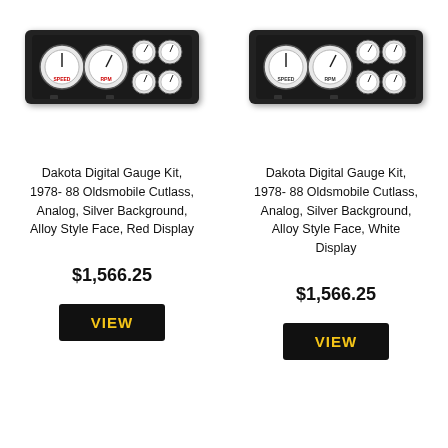[Figure (photo): Dakota Digital analog gauge kit dashboard panel with silver background, black bezel, Alloy Style Face with Red Display, for 1978-88 Oldsmobile Cutlass]
[Figure (photo): Dakota Digital analog gauge kit dashboard panel with silver background, black bezel, Alloy Style Face with White Display, for 1978-88 Oldsmobile Cutlass]
Dakota Digital Gauge Kit, 1978- 88 Oldsmobile Cutlass, Analog, Silver Background, Alloy Style Face, Red Display
Dakota Digital Gauge Kit, 1978- 88 Oldsmobile Cutlass, Analog, Silver Background, Alloy Style Face, White Display
$1,566.25
$1,566.25
VIEW
VIEW